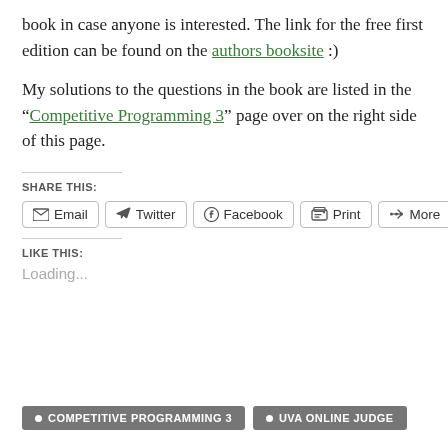book in case anyone is interested. The link for the free first edition can be found on the authors booksite :)
My solutions to the questions in the book are listed in the "Competitive Programming 3" page over on the right side of this page.
SHARE THIS:
[Figure (other): Share buttons: Email, Twitter, Facebook, Print, More]
LIKE THIS:
Loading...
• COMPETITIVE PROGRAMMING 3   • UVA ONLINE JUDGE